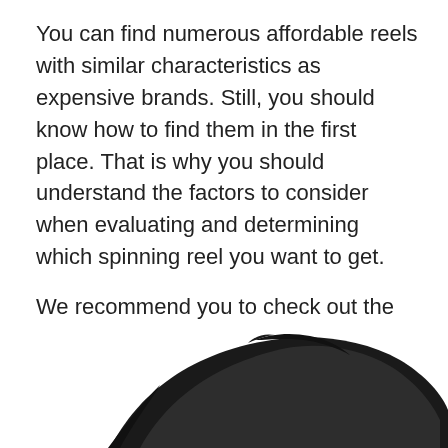You can find numerous affordable reels with similar characteristics as expensive brands. Still, you should know how to find them in the first place. That is why you should understand the factors to consider when evaluating and determining which spinning reel you want to get.
We recommend you to check out the review of the Shimano Stradic, which is essential to determine the best course of action. In the further article, we will discuss different factors you should consider before buying a spinning reel for your fishing requirements.
1. Spool Design
[Figure (photo): Partial image of a black spinning reel component, showing the curved spool/bail arm structure against a white background.]